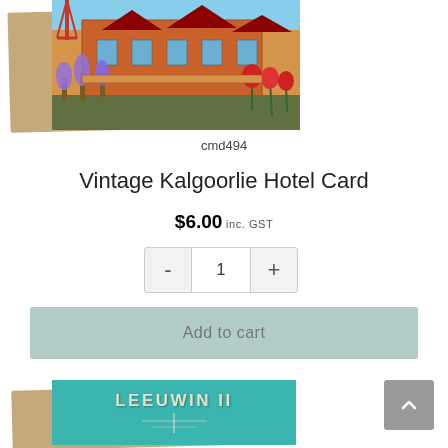[Figure (photo): Vintage Kalgoorlie Hotel greeting card shown with brown kraft envelope, colorful illustrated scene of hotel building with purple and red flowers]
cmd494
Vintage Kalgoorlie Hotel Card
$6.00 inc. GST
[Figure (other): Quantity selector with minus button, input showing 1, and plus button]
Add to cart
[Figure (photo): Leeuwin II greeting card shown with brown kraft envelope, teal card with bold text LEEUWIN II and ship mast illustration]